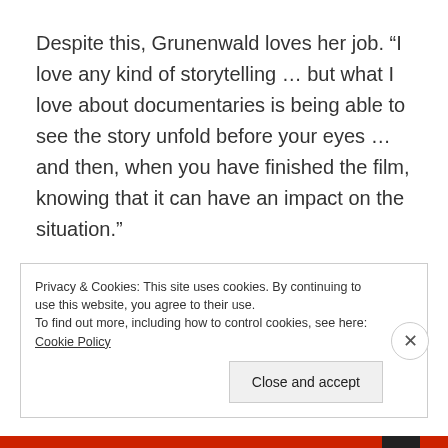Despite this, Grunenwald loves her job. “I love any kind of storytelling … but what I love about documentaries is being able to see the story unfold before your eyes … and then, when you have finished the film, knowing that it can have an impact on the situation.”
• The Shore Break will be screened tomorrow (July 18) at 4.30 pm, 10 am on July 21 and 8 pm on July 24 at Suncoast CineCentre.
For more information, go to
Privacy & Cookies: This site uses cookies. By continuing to use this website, you agree to their use.
To find out more, including how to control cookies, see here: Cookie Policy